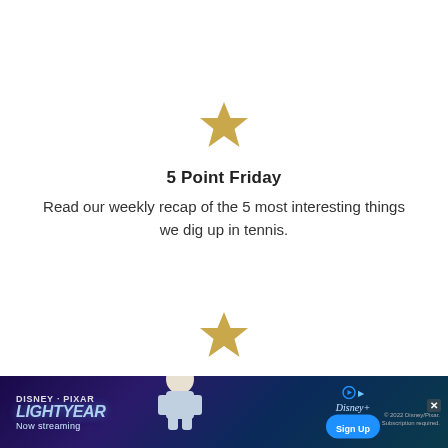[Figure (illustration): A gold/tan five-pointed star icon]
5 Point Friday
Read our weekly recap of the 5 most interesting things we dig up in tennis.
[Figure (illustration): A gold/tan five-pointed star icon]
In-depth Resources
Learn with comprehensive resources to help you improve your game.
[Figure (illustration): Disney Pixar Lightyear advertisement banner — Now streaming on Disney+]